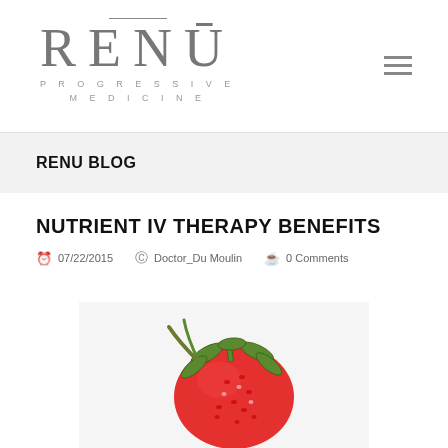[Figure (logo): RENU Progressive Medicine logo with decorative line above the word RENU]
RENU BLOG
NUTRIENT IV THERAPY BENEFITS
07/22/2015  Doctor_Du Moulin  0 Comments
[Figure (photo): Close-up photo of a red strawberry on a light gray/white background]